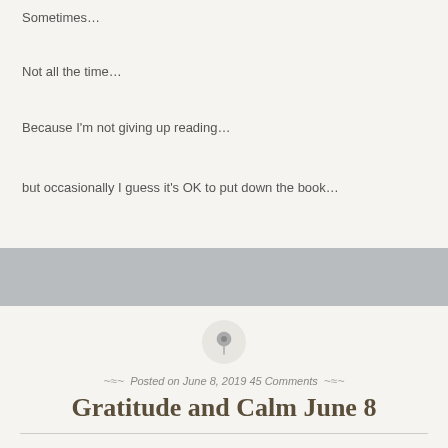Sometimes…
Not all the time…
Because I'm not giving up reading…
but occasionally I guess it's OK to put down the book…
[Figure (illustration): Gray horizontal band separator]
[Figure (illustration): Circular pin/pushpin icon on light circle background]
Posted on June 8, 2019 45 Comments
Gratitude and Calm June 8